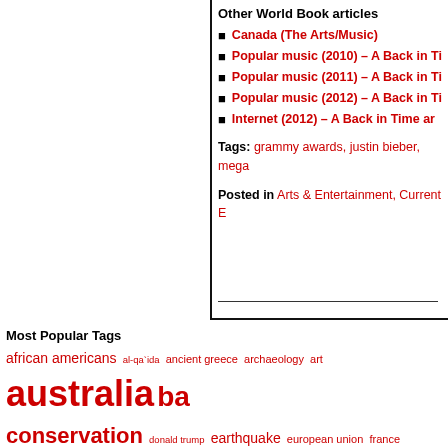Other World Book articles
Canada (The Arts/Music)
Popular music (2010) – A Back in Ti
Popular music (2011) – A Back in Ti
Popular music (2012) – A Back in Ti
Internet (2012) – A Back in Time ar
Tags: grammy awards, justin bieber, mega…
Posted in Arts & Entertainment, Current E…
Most Popular Tags
african americans al-qa`ida ancient greece archaeology art australia ba conservation donald trump earthquake european union france global war monster monday moon mythic monday mythology nasa new syrian civil war Terrorism tornado ukraine united kingdom united states vladimi